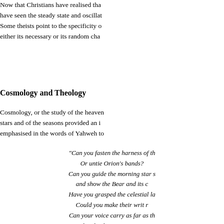Now that Christians have realised that have seen the steady state and oscillati Some theists point to the specificity o either its necessary or its random char.
Cosmology and Theology
Cosmology, or the study of the heaven stars and of the seasons provided an ir emphasised in the words of Yahweh to
"Can you fasten the harness of th Or untie Orion's bands? Can you guide the morning star s and show the Bear and its c Have you grasped the celestial la Could you make their writ r Can your voice carry as far as th and make the pent-up waters Will lightning flashes come at you And answer "Here we are" "
Yahweh also demands:
"Where were you when I laid the Tell me, since you are so we Who decided the dimensions of it Or who stretched the measu